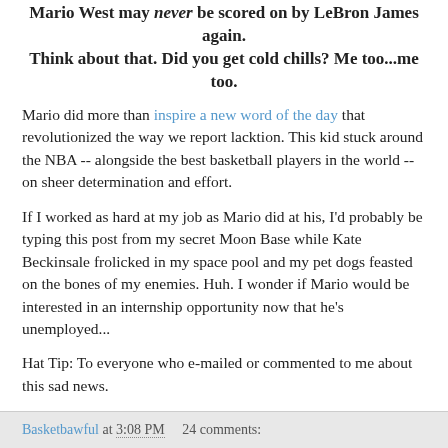Mario West may never be scored on by LeBron James again. Think about that. Did you get cold chills? Me too...me too.
Mario did more than inspire a new word of the day that revolutionized the way we report lacktion. This kid stuck around the NBA -- alongside the best basketball players in the world -- on sheer determination and effort.
If I worked as hard at my job as Mario did at his, I'd probably be typing this post from my secret Moon Base while Kate Beckinsale frolicked in my space pool and my pet dogs feasted on the bones of my enemies. Huh. I wonder if Mario would be interested in an internship opportunity now that he's unemployed...
Hat Tip: To everyone who e-mailed or commented to me about this sad news.
Basketbawful at 3:08 PM   24 comments: